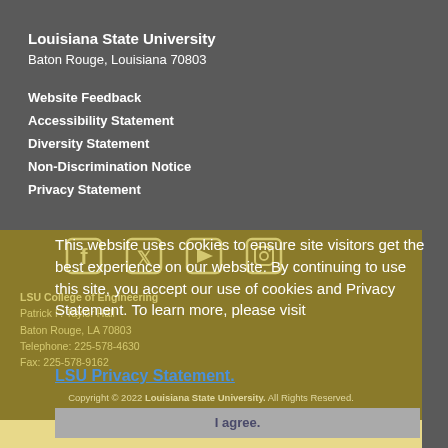Louisiana State University
Baton Rouge, Louisiana 70803
Website Feedback
Accessibility Statement
Diversity Statement
Non-Discrimination Notice
Privacy Statement
[Figure (infographic): Social media icons: Facebook, Twitter, YouTube, Instagram]
LSU College of Engineering
Patrick F. Taylor Hall
Baton Rouge, LA 70803
Telephone: 225-578-4630
Fax: 225-578-9162
This website uses cookies to ensure site visitors get the best experience on our website. By continuing to use this site, you accept our use of cookies and Privacy Statement. To learn more, please visit
LSU Privacy Statement.
Copyright © 2022 Louisiana State University. All Rights Reserved.
I agree.